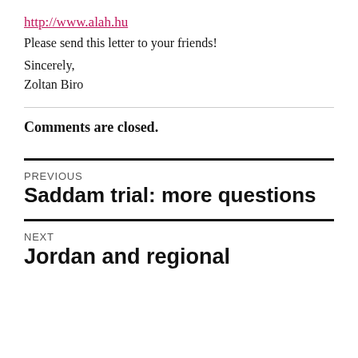http://www.alah.hu
Please send this letter to your friends!
Sincerely,
Zoltan Biro
Comments are closed.
PREVIOUS
Saddam trial: more questions
NEXT
Jordan and regional